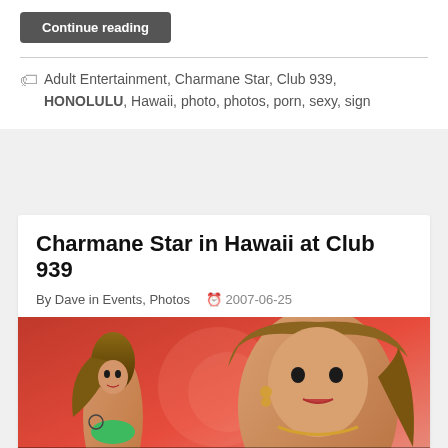Continue reading
Adult Entertainment, Charmane Star, Club 939, HONOLULU, Hawaii, photo, photos, porn, sexy, sign
Charmane Star in Hawaii at Club 939
By Dave in Events, Photos  2007-06-25
[Figure (photo): Promotional poster for Charmane Star event at Club 939, showing two images of a woman against a red background with text 'Wicked World Productions' and 'Charmane Star']